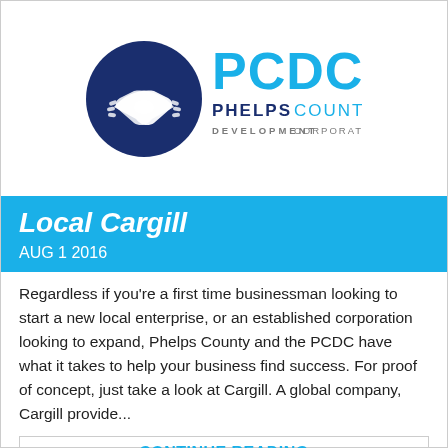[Figure (logo): PCDC Phelps County Development Corporation logo with handshake icon in dark blue circle and PCDC text in blue]
Local Cargill
AUG 1 2016
Regardless if you’re a first time businessman looking to start a new local enterprise, or an established corporation looking to expand, Phelps County and the PCDC have what it takes to help your business find success. For proof of concept, just take a look at Cargill. A global company, Cargill provide...
CONTINUE READING